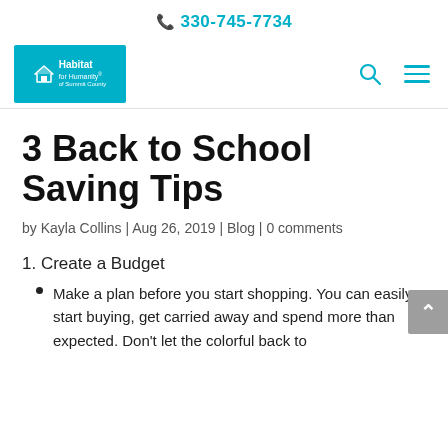330-745-7734
[Figure (logo): Habitat for Humanity logo in teal/cyan square]
3 Back to School Saving Tips
by Kayla Collins | Aug 26, 2019 | Blog | 0 comments
1. Create a Budget
Make a plan before you start shopping. You can easily start buying, get carried away and spend more than expected. Don't let the colorful back to